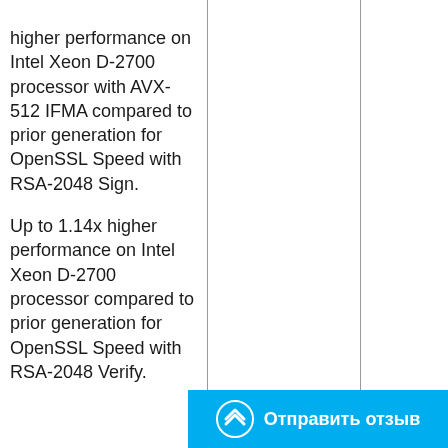higher performance on Intel Xeon D-2700 processor with AVX-512 IFMA compared to prior generation for OpenSSL Speed with RSA-2048 Sign.
Up to 1.14x higher performance on Intel Xeon D-2700 processor compared to prior generation for OpenSSL Speed with RSA-2048 Verify.
[Figure (other): Blue feedback button bar with arrow icon and Russian text 'Отправить отзыв' (Submit feedback)]